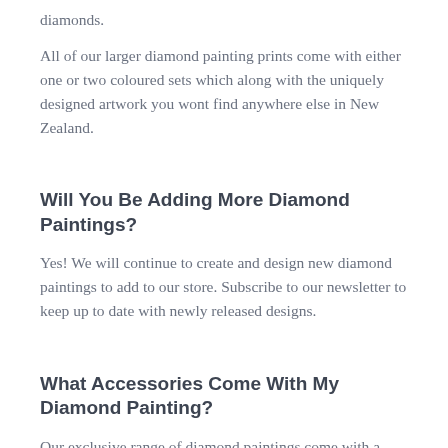diamonds.
All of our larger diamond painting prints come with either one or two coloured sets which along with the uniquely designed artwork you wont find anywhere else in New Zealand.
Will You Be Adding More Diamond Paintings?
Yes! We will continue to create and design new diamond paintings to add to our store. Subscribe to our newsletter to keep up to date with newly released designs.
What Accessories Come With My Diamond Painting?
Our exclusive range of diamond paintings come with a premium accessory kit. This includes a larger tray with funnel, a heart shaped glue pad, a drill pen with grip for a more comfortable hold, two multi-pleasers